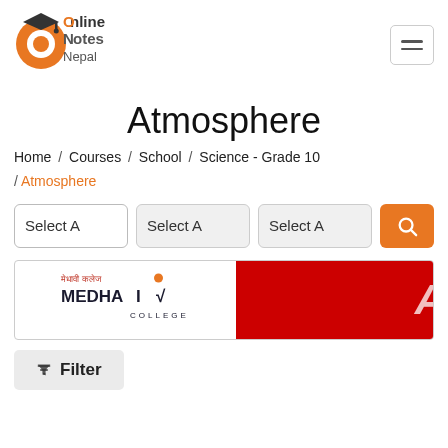[Figure (logo): Online Notes Nepal logo — orange circular icon with graduation cap and text 'Online Notes Nepal']
Atmosphere
Home / Courses / School / Science - Grade 10 / Atmosphere
Select A  Select A  Select A [Search button]
[Figure (photo): Medhavi College advertisement banner with logo on left and red section on right with letter A]
Filter